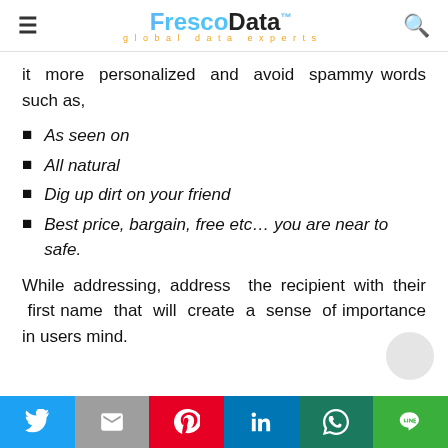FrescoData — global data experts
it more personalized and avoid spammy words such as,
As seen on
All natural
Dig up dirt on your friend
Best price, bargain, free etc… you are near to safe.
While addressing, address the recipient with their first name that will create a sense of importance in users mind.
Social share bar: Twitter, Email, Pinterest, LinkedIn, WhatsApp, Line